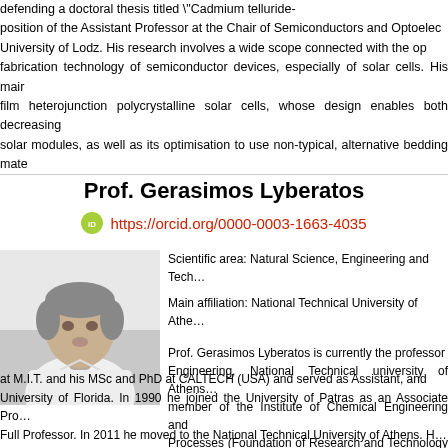defending a doctoral thesis titled "Cadmium telluride-… position of the Assistant Professor at the Chair of Semiconductors and Optoelectronics, University of Lodz. His research involves a wide scope connected with the optics and fabrication technology of semiconductor devices, especially of solar cells. His main … film heterojunction polycrystalline solar cells, whose design enables both decreasing … solar modules, as well as its optimisation to use non-typical, alternative bedding mate…
Prof. Gerasimos Lyberatos
https://orcid.org/0000-0003-1663-4035
[Figure (photo): Black and white photograph of Prof. Gerasimos Lyberatos, a middle-aged man in a light-colored shirt]
Scientific area: Natural Science, Engineering and Tech…
Main affiliation: National Technical University of Athe…
Prof. Gerasimos Lyberatos is currently the professor… Engineering, National Technical university of Athens… member of the Institute of Chemical Engineering and… Processes (Foundation of Research and Technology H… at M.I.T. and his MSc and PhD at CALTECH (USA) and served as Assistant, and… University of Florida. In 1990 he joined the University of Patras as an Associate Pro… Full Professor. In 2011 he moved to the National Technical University of Athens. H… valorisation of biowaste for the production of energy and materials, pretreatment (th…